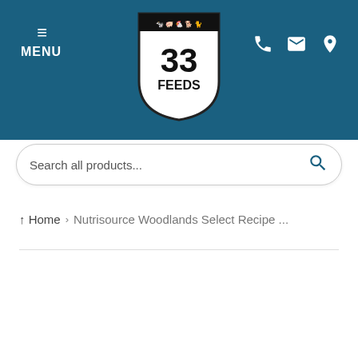33 FEEDS header with menu, logo, and contact icons
Search all products...
Home > Nutrisource Woodlands Select Recipe ...